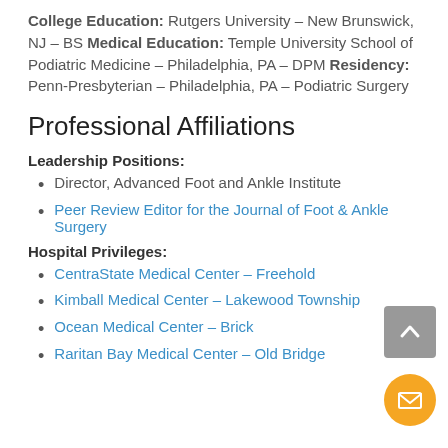College Education: Rutgers University – New Brunswick, NJ – BS Medical Education: Temple University School of Podiatric Medicine – Philadelphia, PA – DPM Residency: Penn-Presbyterian – Philadelphia, PA – Podiatric Surgery
Professional Affiliations
Leadership Positions:
Director, Advanced Foot and Ankle Institute
Peer Review Editor for the Journal of Foot & Ankle Surgery
Hospital Privileges:
CentraState Medical Center – Freehold
Kimball Medical Center – Lakewood Township
Ocean Medical Center – Brick
Raritan Bay Medical Center – Old Bridge